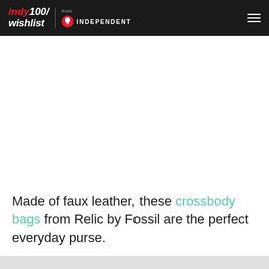indy100/wishlist from INDEPENDENT
[Figure (photo): Large white/empty image area below the header navigation bar]
Made of faux leather, these crossbody bags from Relic by Fossil are the perfect everyday purse.